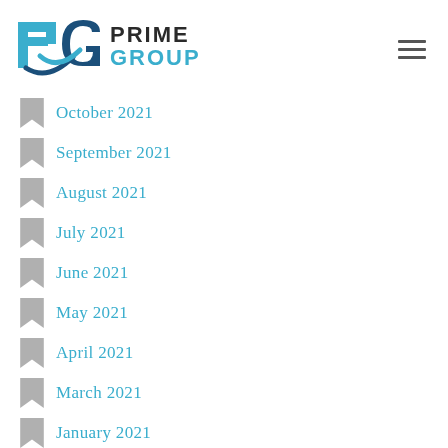[Figure (logo): Prime Group logo with stylized PG letters in blue and teal, with PRIME GROUP text in dark and teal]
October 2021
September 2021
August 2021
July 2021
June 2021
May 2021
April 2021
March 2021
January 2021
December 2020
November 2020
October 2020